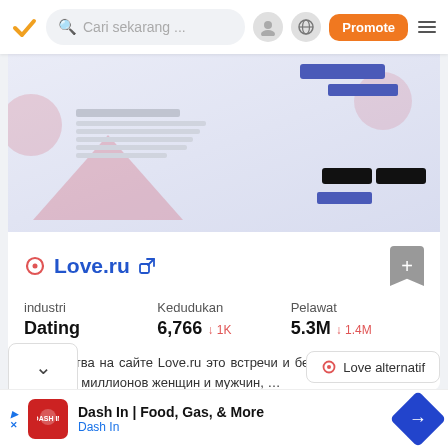Cari sekarang ... Promote
[Figure (screenshot): Screenshot preview of Love.ru website showing interface with pink shapes, blue buttons, and app store download buttons]
Love.ru
| industri | Kedudukan | Pelawat |
| --- | --- | --- |
| Dating | 6,766 ↓ 1K | 5.3M ↓ 1.4M |
Знакомства на сайте Love.ru это встречи и бесплатное общение среди 42 миллионов женщин и мужчин, ...
Love alternatif
Dash In | Food, Gas, & More  Dash In